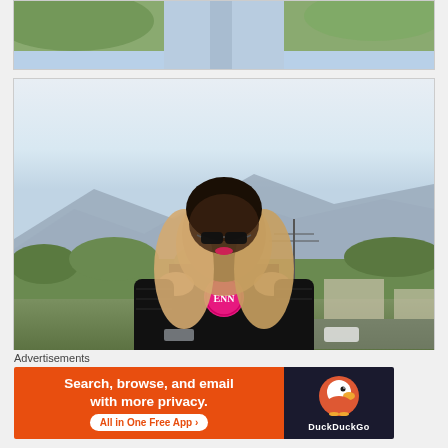[Figure (photo): Top cropped photo showing person's legs in light blue jeans with green foliage background]
[Figure (photo): Fashion blog photo of a woman with long blonde ombre hair wearing a black cold-shoulder top with a pink monogram circle graphic, sunglasses, standing outdoors with mountains and cityscape in background at dusk]
Advertisements
[Figure (other): DuckDuckGo advertisement banner: Search, browse, and email with more privacy. All in One Free App. Shows DuckDuckGo duck logo on dark background.]